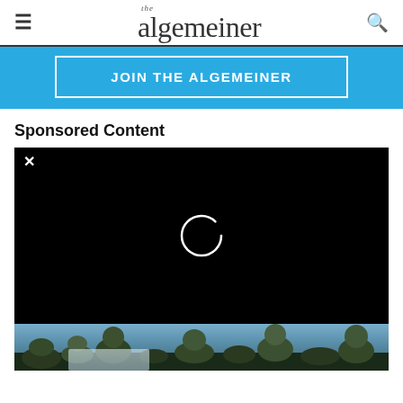the algemeiner
[Figure (other): JOIN THE ALGEMEINER blue banner button with white border]
Sponsored Content
[Figure (screenshot): Video player with black background showing a loading spinner ring and a close X button in the top left]
[Figure (photo): Outdoor winter forest scene with snow-covered trees]